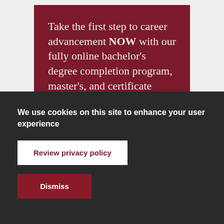Take the first step to career advancement NOW with our fully online bachelor's degree completion program, master's, and certificate programs! →
[Figure (photo): Tree foliage photographed from below, showing green leaves against a light sky, partially obscured by dark overhead structure]
We use cookies on this site to enhance your user experience
Review privacy policy
Dismiss